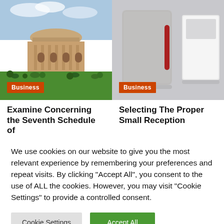[Figure (photo): Photo of a large Indian government building (Parliament House) with green lawns and people in the foreground. An orange 'Business' badge overlays the lower-left.]
Examine Concerning the Seventh Schedule of
[Figure (photo): Product photo of a small reception / safe box in silver/metallic finish with a red vertical handle, alongside a white open box. An orange 'Business' badge overlays the lower-left.]
Selecting The Proper Small Reception
We use cookies on our website to give you the most relevant experience by remembering your preferences and repeat visits. By clicking "Accept All", you consent to the use of ALL the cookies. However, you may visit "Cookie Settings" to provide a controlled consent.
Cookie Settings
Accept All